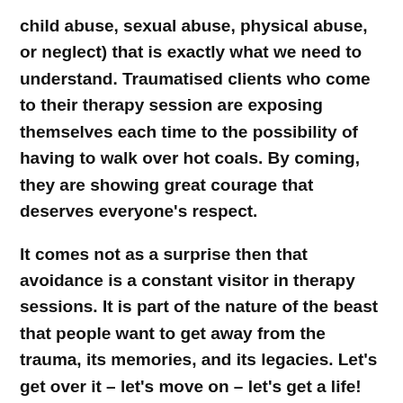child abuse, sexual abuse, physical abuse, or neglect) that is exactly what we need to understand. Traumatised clients who come to their therapy session are exposing themselves each time to the possibility of having to walk over hot coals. By coming, they are showing great courage that deserves everyone's respect.
It comes not as a surprise then that avoidance is a constant visitor in therapy sessions. It is part of the nature of the beast that people want to get away from the trauma, its memories, and its legacies. Let's get over it – let's move on – let's get a life! Avoidance is in a way saying, “Aren't we there yet?” The journey is becoming too hard or too long.
How about using avoidance as a sign for urgently needed Self Care? Let's give the client a break and let her or him